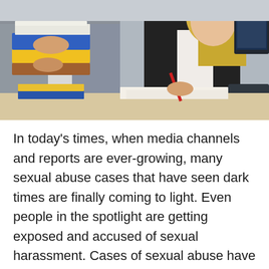[Figure (photo): Two office workers at a desk — a man in a grey suit holding a stack of binders/folders on the left, and a woman in a black blazer with blonde hair writing or reviewing documents near a computer monitor on the right.]
In today's times, when media channels and reports are ever-growing, many sexual abuse cases that have seen dark times are finally coming to light. Even people in the spotlight are getting exposed and accused of sexual harassment. Cases of sexual abuse have seen a significant rise in recent years. Here is a short guide on what sexual abuse victims can expect when fighting